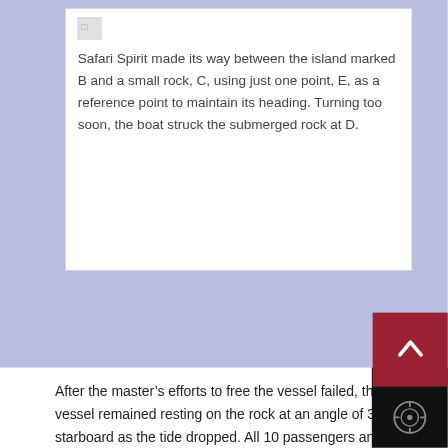[Figure (photo): Broken/missing image placeholder icon in top-left of white card]
Safari Spirit made its way between the island marked B and a small rock, C, using just one point, E, as a reference point to maintain its heading. Turning too soon, the boat struck the submerged rock at D.
After the master's efforts to free the vessel failed, the vessel remained resting on the rock at an angle of 35°  to starboard as the tide dropped. All 10 passengers and six crewmembers escaped unharmed in Safari Spirit's skiff.
Rescue vessels reached the site by 0930. Water began flooding the afterdeck and the lazarette, eventually filling the engine room and slowly submerging the stern. At 1020 Safari Spirit slipped from the rock and sank in 70 feet of water. The vessel rested on the bottom, with the bow remaining above the surface.